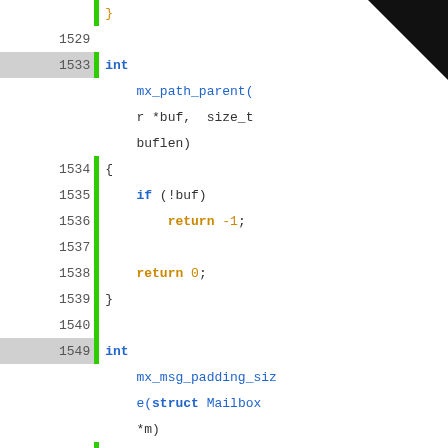[Figure (screenshot): Source code viewer showing C code with line numbers 1529-1565, functions mx_path_parent, mx_msg_padding_size, and mx_ac_find with syntax highlighting in blue and orange on white background.]